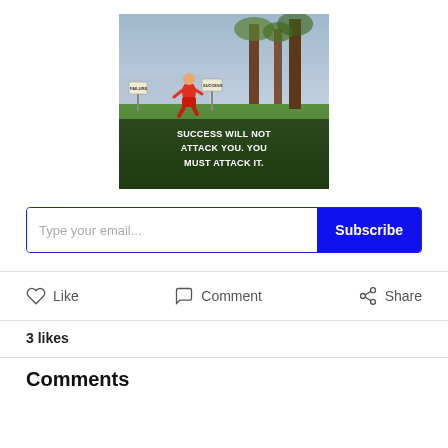[Figure (photo): A person in a red outfit running through a park with signs labeled 'FAILURE' and 'SUCCESS' in the background. Overlay text reads: SUCCESS WILL NOT ATTACK YOU. YOU MUST ATTACK IT.]
Type your email...
Subscribe
Like
Comment
Share
3 likes
Comments